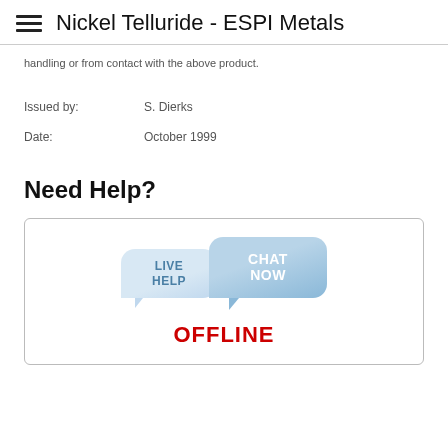Nickel Telluride - ESPI Metals
handling or from contact with the above product.
Issued by:    S. Dierks
Date:    October 1999
Need Help?
[Figure (other): Live chat widget showing two speech bubbles labeled 'LIVE HELP' and 'CHAT NOW', with 'OFFLINE' text in red below]